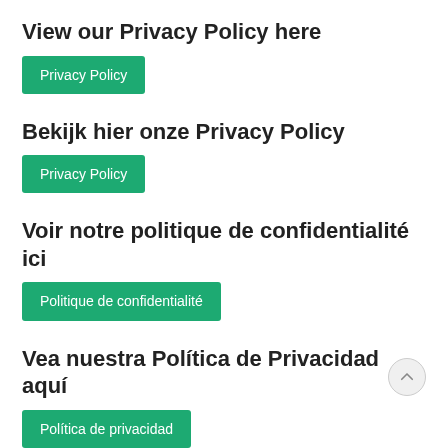View our Privacy Policy here
Privacy Policy
Bekijk hier onze Privacy Policy
Privacy Policy
Voir notre politique de confidentialité ici
Politique de confidentialité
Vea nuestra Política de Privacidad aquí
Política de privacidad